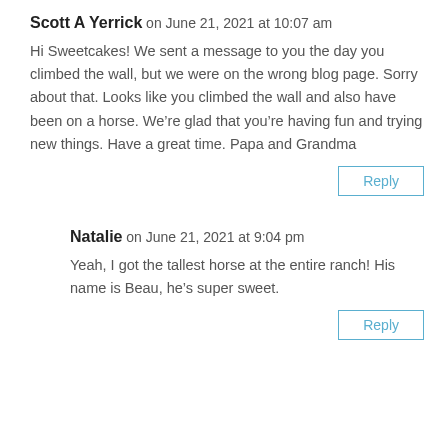Scott A Yerrick on June 21, 2021 at 10:07 am
Hi Sweetcakes! We sent a message to you the day you climbed the wall, but we were on the wrong blog page. Sorry about that. Looks like you climbed the wall and also have been on a horse. We’re glad that you’re having fun and trying new things. Have a great time. Papa and Grandma
Reply
Natalie on June 21, 2021 at 9:04 pm
Yeah, I got the tallest horse at the entire ranch! His name is Beau, he’s super sweet.
Reply